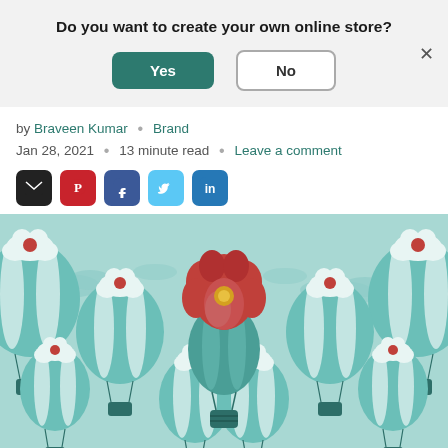Do you want to create your own online store?
Yes | No
by Braveen Kumar · Brand
Jan 28, 2021 · 13 minute read · Leave a comment
[Figure (illustration): Illustration of many teal and white striped hot air balloons with a single distinctive red rose-shaped hot air balloon in the center, standing out from the rest, on a light teal sky background with clouds.]